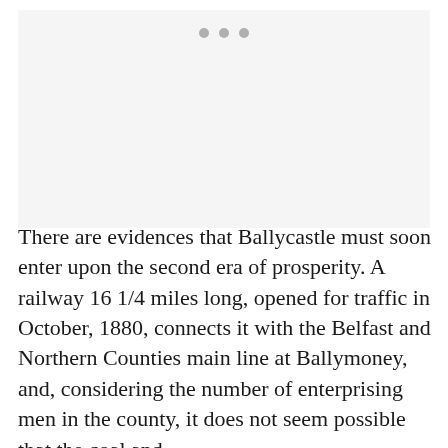[Figure (other): Placeholder image area with three grey dots indicating a loading or missing image]
There are evidences that Ballycastle must soon enter upon the second era of prosperity. A railway 16 1/4 miles long, opened for traffic in October, 1880, connects it with the Belfast and Northern Counties main line at Ballymoney, and, considering the number of enterprising men in the county, it does not seem possible that the coal and